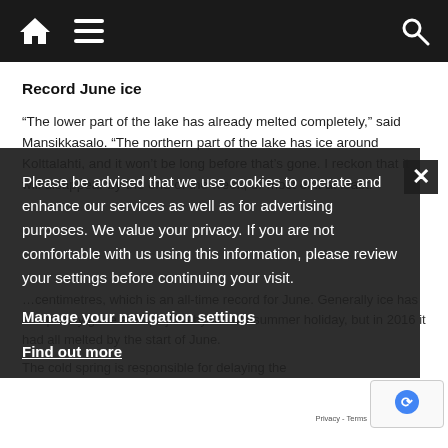Navigation bar with home, menu, and search icons
Record June ice
“The lower part of the lake has already melted completely,” said Mansikkasalo. “The northern part of the lake has ice around Kolttalahti, and it won’t be long before that’s gone. I reckon that it will disappear by the end of the week, or most of it at least.
Please be advised that we use cookies to operate and enhance our services as well as for advertising purposes. We value your privacy. If you are not comfortable with us using this information, please review your settings before continuing your visit.
Manage your navigation settings
Find out more
...centimetres, which is an all-time record for June. Generally ice has completely gone at Kilpisjärvi by the Midsummer holiday, but in 2016 it had all melted by the start of June.
The cold spring is responsible for delaying the